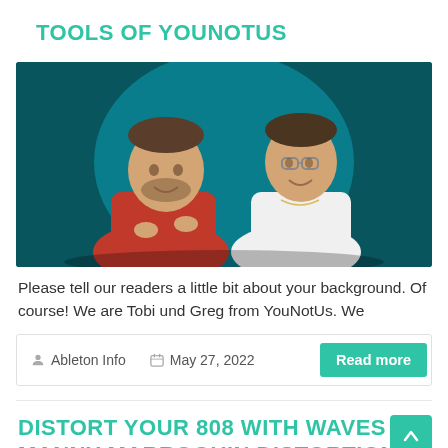TOOLS OF YOUNOTUS
[Figure (photo): Photo of two men smiling against a teal/dark background. One wearing red shirt on left, one wearing white shirt and glasses on right.]
Please tell our readers a little bit about your background. Of course! We are Tobi und Greg from YouNotUs. We
Ableton Info   May 27, 2022   Read more
DISTORT YOUR 808 WITH WAVES MANNY MARROQUIN DISTORTION